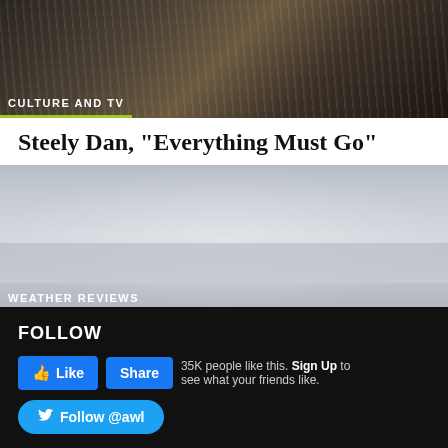[Figure (photo): Dark sepia-toned photograph, appears to show a figure or scene with dark tones]
CULTURE AND TV
Steely Dan, "Everything Must Go"
[Figure (photo): Gray overcast sky photograph]
WEATHER REVIEWS
New York City, January 29, 2018
FOLLOW
35K people like this. Sign Up to see what your friends like.
Follow @awl